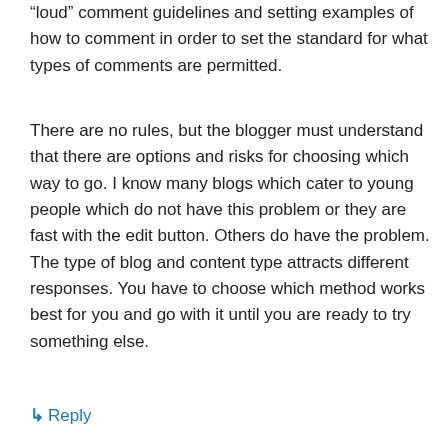“loud” comment guidelines and setting examples of how to comment in order to set the standard for what types of comments are permitted.
There are no rules, but the blogger must understand that there are options and risks for choosing which way to go. I know many blogs which cater to young people which do not have this problem or they are fast with the edit button. Others do have the problem. The type of blog and content type attracts different responses. You have to choose which method works best for you and go with it until you are ready to try something else.
↳ Reply